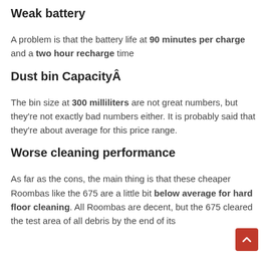Weak battery
A problem is that the battery life at 90 minutes per charge and a two hour recharge time
Dust bin CapacityÂ
The bin size at 300 milliliters are not great numbers, but they're not exactly bad numbers either. It is probably said that they're about average for this price range.
Worse cleaning performance
As far as the cons, the main thing is that these cheaper Roombas like the 675 are a little bit below average for hard floor cleaning. All Roombas are decent, but the 675 cleared the test area of all debris by the end of its